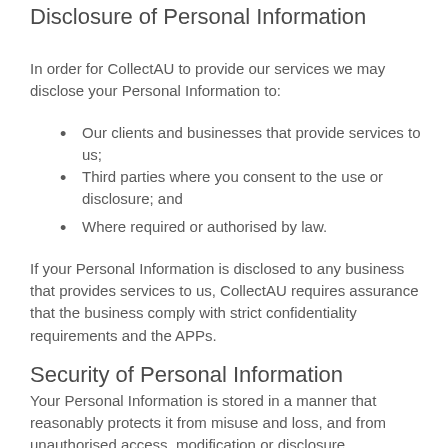Disclosure of Personal Information
In order for CollectAU to provide our services we may disclose your Personal Information to:
Our clients and businesses that provide services to us;
Third parties where you consent to the use or disclosure; and
Where required or authorised by law.
If your Personal Information is disclosed to any business that provides services to us, CollectAU requires assurance that the business comply with strict confidentiality requirements and the APPs.
Security of Personal Information
Your Personal Information is stored in a manner that reasonably protects it from misuse and loss, and from unauthorised access, modification or disclosure.
When your Personal Information is no longer needed for